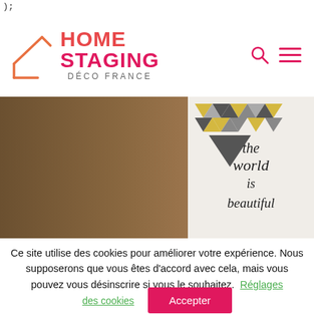);
[Figure (logo): Home Staging Déco France logo with orange/pink house roof icon and text]
[Figure (photo): Interior room photo with a decorative canvas showing geometric triangles and cursive text 'the world is beautiful']
Ce site utilise des cookies pour améliorer votre expérience. Nous supposerons que vous êtes d'accord avec cela, mais vous pouvez vous désinscrire si vous le souhaitez. Réglages
des cookies
Accepter